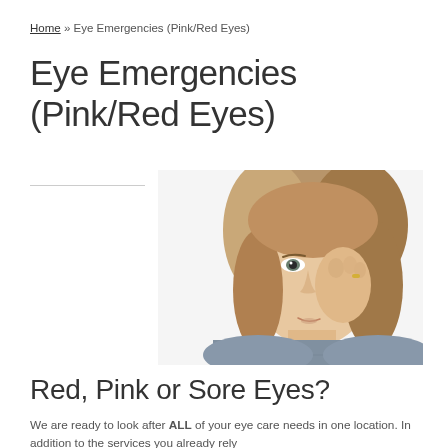Home » Eye Emergencies (Pink/Red Eyes)
Eye Emergencies (Pink/Red Eyes)
[Figure (photo): Young woman with short brown hair rubbing or touching her eye with her hand, wearing a grey knit sweater, white background]
Red, Pink or Sore Eyes?
We are ready to look after ALL of your eye care needs in one location. In addition to the services you already rely